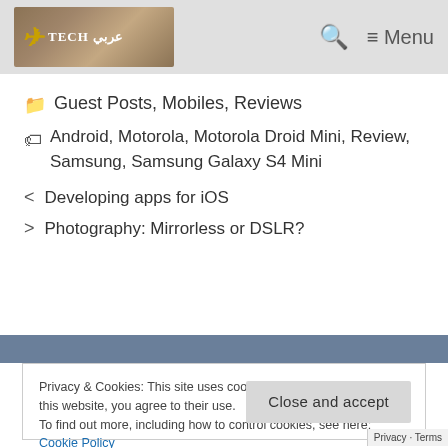Tech [logo] | Search | ≡ Menu
📁 Guest Posts, Mobiles, Reviews
🏷 Android, Motorola, Motorola Droid Mini, Review, Samsung, Samsung Galaxy S4 Mini
< Developing apps for iOS
> Photography: Mirrorless or DSLR?
Privacy & Cookies: This site uses cookies. By continuing to use this website, you agree to their use.
To find out more, including how to control cookies, see here: Cookie Policy
Close and accept
Privacy · Terms